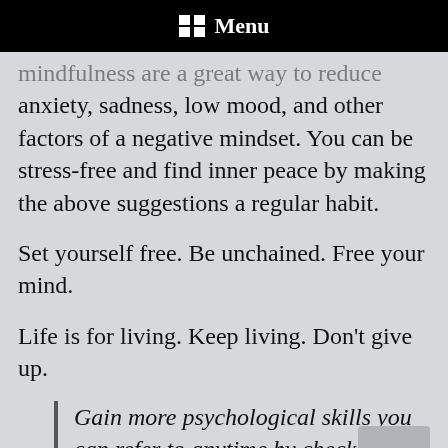Menu
…mindfulness are a great way to reduce anxiety, sadness, low mood, and other factors of a negative mindset. You can be stress-free and find inner peace by making the above suggestions a regular habit.
Set yourself free. Be unchained. Free your mind.
Life is for living. Keep living. Don't give up.
Gain more psychological skills you can refer to anytime by checking out this